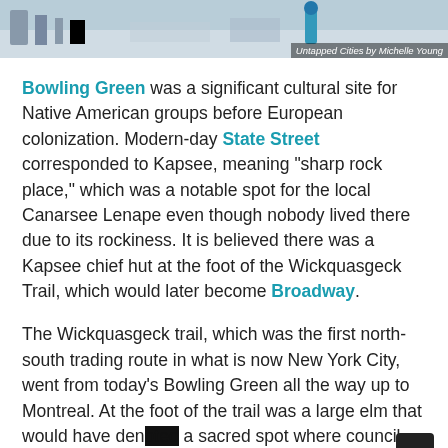[Figure (photo): Partial photo strip at the top of the page showing a winter or urban outdoor scene with figures, captioned 'Untapped Cities by Michelle Young']
Untapped Cities by Michelle Young
Bowling Green was a significant cultural site for Native American groups before European colonization. Modern-day State Street corresponded to Kapsee, meaning "sharp rock place," which was a notable spot for the local Canarsee Lenape even though nobody lived there due to its rockiness. It is believed there was a Kapsee chief hut at the foot of the Wickquasgeck Trail, which would later become Broadway.
The Wickquasgeck trail, which was the first north-south trading route in what is now New York City, went from today's Bowling Green all the way up to Montreal. At the foot of the trail was a large elm that would have denoted a sacred spot where council fires were held. It is clear that